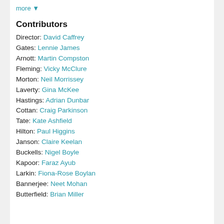more ▼
Contributors
Director: David Caffrey
Gates: Lennie James
Arnott: Martin Compston
Fleming: Vicky McClure
Morton: Neil Morrissey
Laverty: Gina McKee
Hastings: Adrian Dunbar
Cottan: Craig Parkinson
Tate: Kate Ashfield
Hilton: Paul Higgins
Janson: Claire Keelan
Buckells: Nigel Boyle
Kapoor: Faraz Ayub
Larkin: Fiona-Rose Boylan
Bannerjee: Neet Mohan
Butterfield: Brian Miller